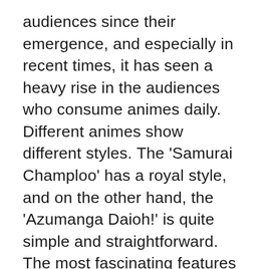audiences since their emergence, and especially in recent times, it has seen a heavy rise in the audiences who consume animes daily. Different animes show different styles. The 'Samurai Champloo' has a royal style, and on the other hand, the 'Azumanga Daioh!' is quite simple and straightforward. The most fascinating features are that it provides the audience with several genres to choose from. If you love crime fictions, you should go for 'Ghost in the Shell', while a science geek would prefer the anime 'Planetes', and a few others who are in the category of romantics would go for 'Fruits Basket' that has a touch of comedy in it. The anime also consists of adaptations of the classics such as 'The Count of Monte Cristo'. It is one of the main reasons why anime is